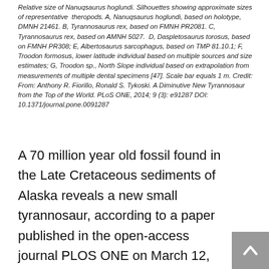Relative size of Nanuqsaurus hoglundi. Silhouettes showing approximate sizes of representative theropods. A, Nanuqsaurus hoglundi, based on holotype, DMNH 21461. B, Tyrannosaurus rex, based on FMNH PR2081. C, Tyrannosaurus rex, based on AMNH 5027. D, Daspletosaurus torosus, based on FMNH PR308; E, Albertosaurus sarcophagus, based on TMP 81.10.1; F, Troodon formosus, lower latitude individual based on multiple sources and size estimates; G, Troodon sp., North Slope individual based on extrapolation from measurements of multiple dental specimens [47]. Scale bar equals 1 m. Credit: From: Anthony R. Fiorillo, Ronald S. Tykoski. A Diminutive New Tyrannosaur from the Top of the World. PLoS ONE, 2014; 9 (3): e91287 DOI: 10.1371/journal.pone.0091287
A 70 million year old fossil found in the Late Cretaceous sediments of Alaska reveals a new small tyrannosaur, according to a paper published in the open-access journal PLOS ONE on March 12, 2014 by co-authors Anthony Fiorillo and Ronald S. Tykoski from Perot Museum of Nature and Science, Texas, and colleagues.Tyrannosaurs, the lineage of carnivorous theropod (“beast feet”) dinosaurs that include T. rex, have captivated our attention, but the majority of our knowledge about this group comes from fossils from low- to